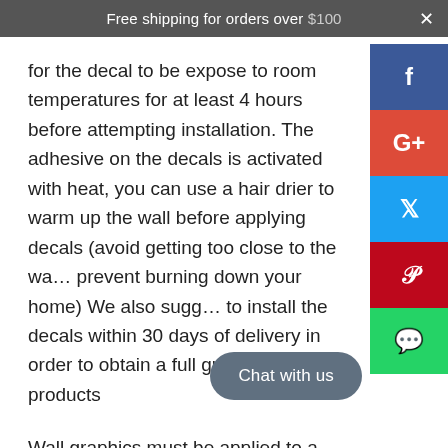Free shipping for orders over $100  ×
for the decal to be expose to room temperatures for at least 4 hours before attempting installation. The adhesive on the decals is activated with heat, you can use a hair drier to warm up the wall before applying decals (avoid getting too close to the wall prevent burning down your home) We also suggest to install the decals within 30 days of delivery in order to obtain a full guarantee for the products
Wall graphics must be applied to a clean, smooth (slight textured is acceptable), dry and non-porous surface in a timely manner, preferably within 4 weeks of receiving your shipment. New paint should be allowed to cure for four full weeks before wall graphic application. Your